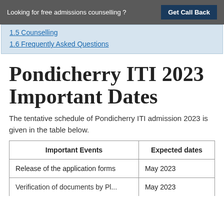Looking for free admissions counselling ? Get Call Back
1.5 Counselling
1.6 Frequently Asked Questions
Pondicherry ITI 2023 Important Dates
The tentative schedule of Pondicherry ITI admission 2023 is given in the table below.
| Important Events | Expected dates |
| --- | --- |
| Release of the application forms | May 2023 |
| Verification of documents by DI... | May 2023 |